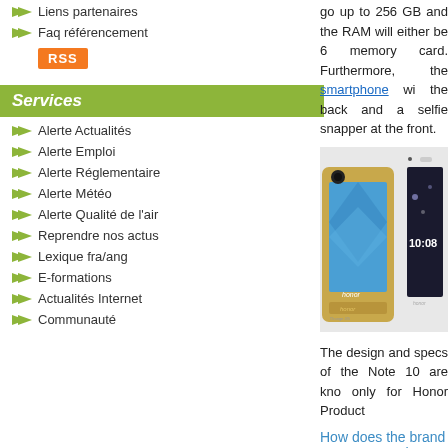Liens partenaires
Faq référencement
RSS
Services
Alerte Actualités
Alerte Emploi
Alerte Réglementaire
Alerte Météo
Alerte Qualité de l'air
Reprendre nos actus
Lexique fra/ang
E-formations
Actualités Internet
Communauté
go up to 256 GB and the RAM will either be 6 memory card. Furthermore, the smartphone wi the back and a selfie snapper at the front.
[Figure (photo): Two Honor smartphones side by side — a gold Honor 7 Lite and a white/silver Honor device showing time 10:08]
The design and specs of the Note 10 are kno only for Honor Product
How does the brand compare to other p
Being a part of the giant tech company Hua responsible for manufacturing budget phones. specs that could feature on the Note 10, the g Apple and Samsung.
When will the upcoming smartphone b